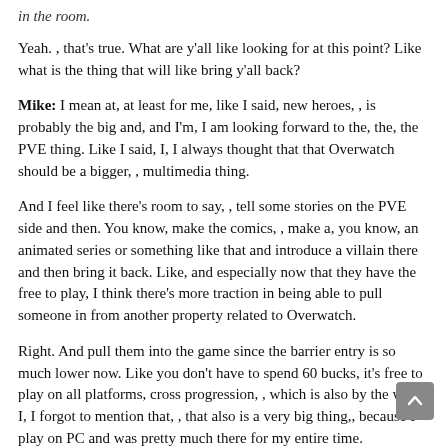in the room.
Yeah. , that's true. What are y'all like looking for at this point? Like what is the thing that will like bring y'all back?
Mike: I mean at, at least for me, like I said, new heroes, , is probably the big and, and I'm, I am looking forward to the, the, the PVE thing. Like I said, I, I always thought that that Overwatch should be a bigger, , multimedia thing.
And I feel like there's room to say, , tell some stories on the PVE side and then. You know, make the comics, , make a, you know, an animated series or something like that and introduce a villain there and then bring it back. Like, and especially now that they have the free to play, I think there's more traction in being able to pull someone in from another property related to Overwatch.
Right. And pull them into the game since the barrier entry is so much lower now. Like you don't have to spend 60 bucks, it's free to play on all platforms, cross progression, , which is also by the way. , I, I forgot to mention that, , that also is a very big thing,, because I play on PC and was pretty much there for my entire time.